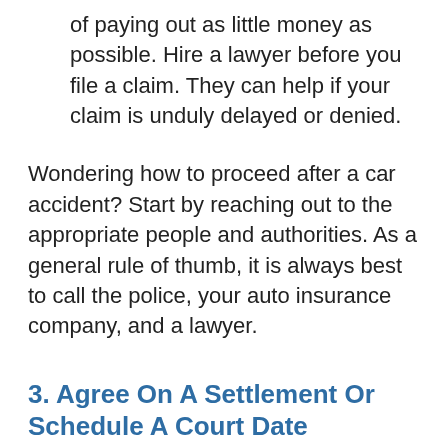of paying out as little money as possible. Hire a lawyer before you file a claim. They can help if your claim is unduly delayed or denied.
Wondering how to proceed after a car accident? Start by reaching out to the appropriate people and authorities. As a general rule of thumb, it is always best to call the police, your auto insurance company, and a lawyer.
3. Agree On A Settlement Or Schedule A Court Date